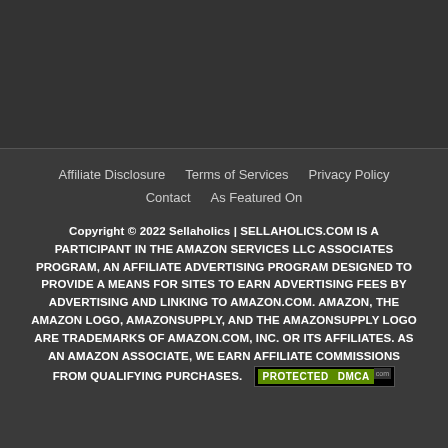Affiliate Disclosure   Terms of Services   Privacy Policy
Contact   As Featured On
Copyright © 2022 Sellaholics | SELLAHOLICS.COM IS A PARTICIPANT IN THE AMAZON SERVICES LLC ASSOCIATES PROGRAM, AN AFFILIATE ADVERTISING PROGRAM DESIGNED TO PROVIDE A MEANS FOR SITES TO EARN ADVERTISING FEES BY ADVERTISING AND LINKING TO AMAZON.COM. AMAZON, THE AMAZON LOGO, AMAZONSUPPLY, AND THE AMAZONSUPPLY LOGO ARE TRADEMARKS OF AMAZON.COM, INC. OR ITS AFFILIATES. AS AN AMAZON ASSOCIATE, WE EARN AFFILIATE COMMISSIONS FROM QUALIFYING PURCHASES.
[Figure (logo): DMCA Protected badge with green background showing PROTECTED and DMCA text]